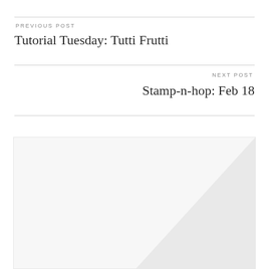PREVIOUS POST
Tutorial Tuesday: Tutti Frutti
NEXT POST
Stamp-n-hop: Feb 18
NEWSLETTER
Who Doesn't Love FREE